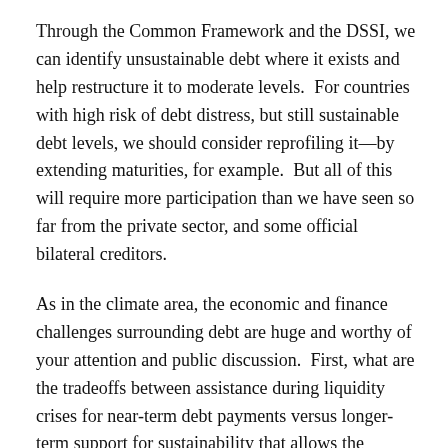Through the Common Framework and the DSSI, we can identify unsustainable debt where it exists and help restructure it to moderate levels.  For countries with high risk of debt distress, but still sustainable debt levels, we should consider reprofiling it—by extending maturities, for example.  But all of this will require more participation than we have seen so far from the private sector, and some official bilateral creditors.
As in the climate area, the economic and finance challenges surrounding debt are huge and worthy of your attention and public discussion.  First, what are the tradeoffs between assistance during liquidity crises for near-term debt payments versus longer-term support for sustainability that allows the people to make progress against poverty?  For which countries is it appropriate to delay principle and interest payments but without reducing the stock of debt or the interest rates on it?  For which countries should the total debt burden be reduced given 'low for long' outlook?  Second, how can accountability be achieved given the difference in time horizons of those signing